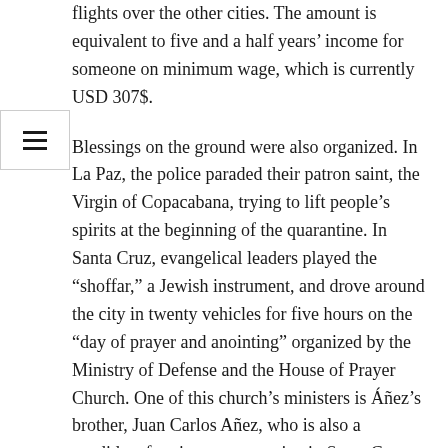flights over the other cities. The amount is equivalent to five and a half years' income for someone on minimum wage, which is currently USD 307$.
Blessings on the ground were also organized. In La Paz, the police paraded their patron saint, the Virgin of Copacabana, trying to lift people's spirits at the beginning of the quarantine. In Santa Cruz, evangelical leaders played the “shoffar,” a Jewish instrument, and drove around the city in twenty vehicles for five hours on the “day of prayer and anointing” organized by the Ministry of Defense and the House of Prayer Church. One of this church’s ministers is Áñez’s brother, Juan Carlos Añez, who is also a candidate for city representative in Santa Cruz.
People have reacted strongly to this situation: